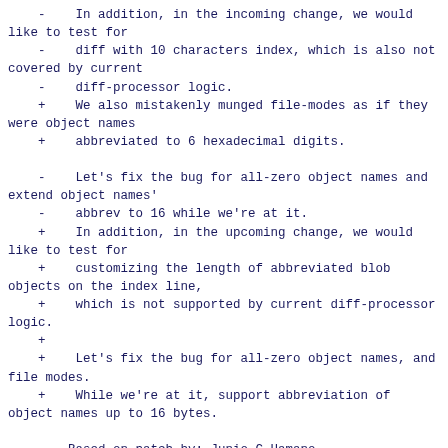-    In addition, in the incoming change, we would like to test for
    -    diff with 10 characters index, which is also not covered by current
    -    diff-processor logic.
    +    We also mistakenly munged file-modes as if they were object names
    +    abbreviated to 6 hexadecimal digits.

    -    Let's fix the bug for all-zero object names and extend object names'
    -    abbrev to 16 while we're at it.
    +    In addition, in the upcoming change, we would like to test for
    +    customizing the length of abbreviated blob objects on the index line,
    +    which is not supported by current diff-processor logic.
    +
    +    Let's fix the bug for all-zero object names, and file modes.
    +    While we're at it, support abbreviation of object names up to 16 bytes.

        Based-on-patch-by: Junio C Hamano <gitster@pobox.com>
        Signed-off-by: Junio C Hamano <gitster@pobox.com>
2:  3cec490500 ! 2:  a9eb73ceab diff: index-line: respect --abbrev in object's name